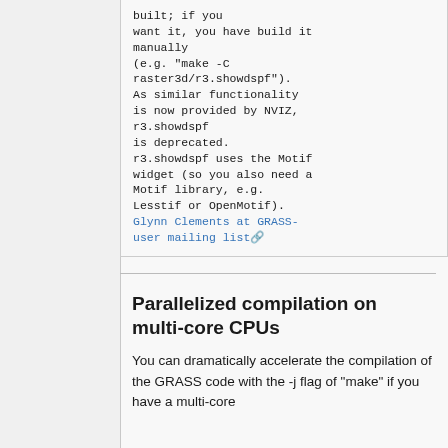built; if you want it, you have build it manually (e.g. "make -C raster3d/r3.showdspf"). As similar functionality is now provided by NVIZ, r3.showdspf is deprecated. r3.showdspf uses the Motif widget (so you also need a Motif library, e.g. Lesstif or OpenMotif). Glynn Clements at GRASS-user mailing list
Parallelized compilation on multi-core CPUs
You can dramatically accelerate the compilation of the GRASS code with the -j flag of "make" if you have a multi-core